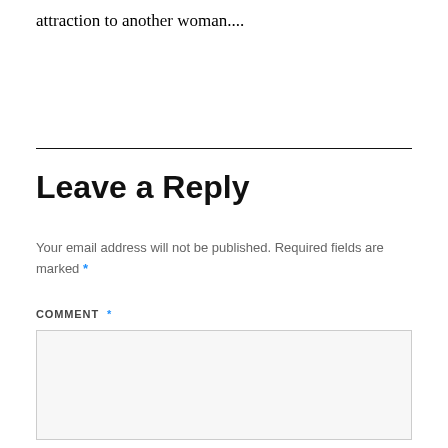attraction to another woman....
Leave a Reply
Your email address will not be published. Required fields are marked *
COMMENT *
[Figure (other): Empty comment text area input box with light grey background]